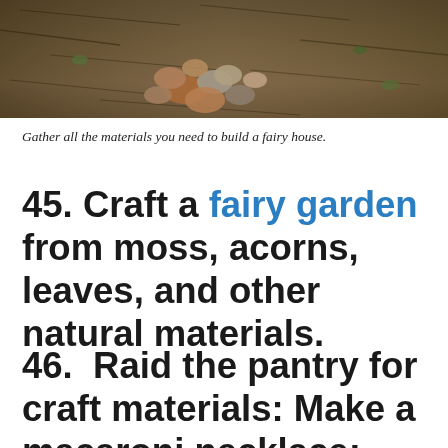[Figure (photo): Photograph of rocks/pebbles arranged on dirt ground with dry leaves and twigs, showing materials for building a fairy house]
Gather all the materials you need to build a fairy house.
45. Craft a fairy garden from moss, acorns, leaves, and other natural materials.
46.  Raid the pantry for craft materials: Make a macaroni necklace; create a collage from